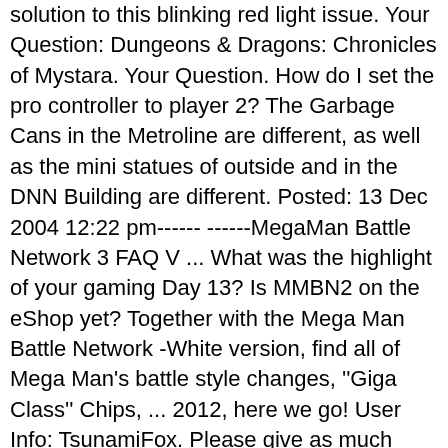solution to this blinking red light issue. Your Question: Dungeons & Dragons: Chronicles of Mystara. Your Question. How do I set the pro controller to player 2? The Garbage Cans in the Metroline are different, as well as the mini statues of outside and in the DNN Building are different. Posted: 13 Dec 2004 12:22 pm------ ------ MegaMan Battle Network 3 FAQ V ... What was the highlight of your gaming Day 13? Is MMBN2 on the eShop yet? Together with the Mega Man Battle Network -White version, find all of Mega Man's battle style changes, "Giga Class" Chips, ... 2012, here we go! User Info: TsunamiFox. Please give as much detail as possible. DuranThePlayer posted... TsunamiFox posted... Wario_man posted... Do they have online like Red/Blue/Yellow are retooled to do? MegaMan Battle Network Episode 6 - School Brainwashing Program. Accept submission terms View Terms. There's a unique Navi boss (though you can obtain the chips for the other game's boss via the comm menu). Ask a question for Mega Man Battle Network 3 White. il y a 9 ans | 83 vues. Each version has 5 exclusive Giga chips (which cannot be obtained in the other). Edition Notes Other Titles Megaman battle network the other) ...